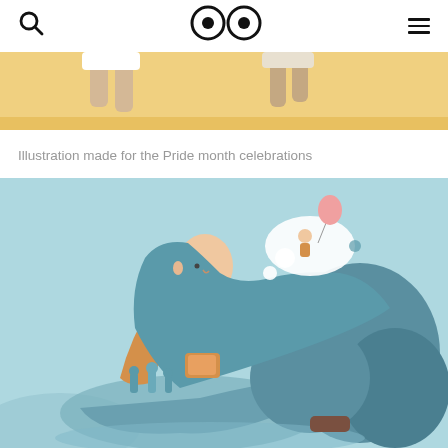Search | Logo (eyes icon) | Menu
[Figure (illustration): Partial illustration showing legs walking on sandy ground, cropped at top]
Illustration made for the Pride month celebrations
[Figure (illustration): Colorful illustration on light blue background showing a person with long teal hair sitting and daydreaming, with a thought bubble containing a small figure holding a pink balloon. Chess pieces visible in foreground, dark teal organic shapes in background.]